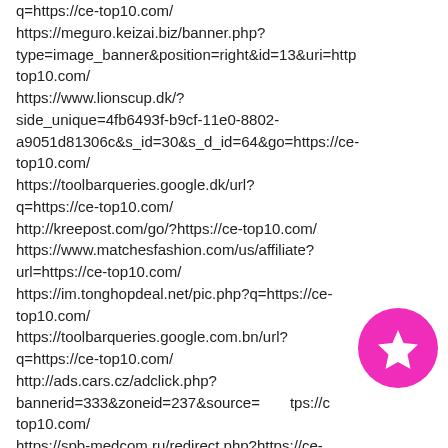q=https://ce-top10.com/
https://meguro.keizai.biz/banner.php?type=image_banner&position=right&id=13&uri=http top10.com/
https://www.lionscup.dk/?side_unique=4fb6493f-b9cf-11e0-8802-a9051d81306c&s_id=30&s_d_id=64&go=https://ce-top10.com/
https://toolbarqueries.google.dk/url?q=https://ce-top10.com/
http://kreepost.com/go/?https://ce-top10.com/
https://www.matchesfashion.com/us/affiliate?url=https://ce-top10.com/
https://im.tonghopdeal.net/pic.php?q=https://ce-top10.com/
https://toolbarqueries.google.com.bn/url?q=https://ce-top10.com/
http://ads.cars.cz/adclick.php?bannerid=333&zoneid=237&source= tps://c top10.com/
https://spb-medcom.ru/redirect.php?https://ce-top10.com/